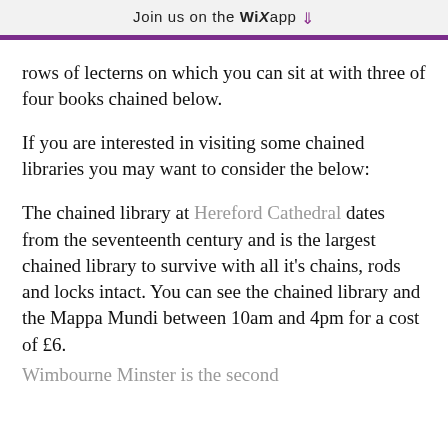Join us on the WiX app ⬇
rows of lecterns on which you can sit at with three of four books chained below.
If you are interested in visiting some chained libraries you may want to consider the below:
The chained library at Hereford Cathedral dates from the seventeenth century and is the largest chained library to survive with all it's chains, rods and locks intact. You can see the chained library and the Mappa Mundi between 10am and 4pm for a cost of £6.
Wimbourne Minster is the second